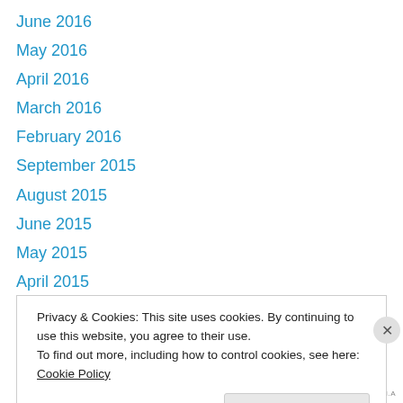June 2016
May 2016
April 2016
March 2016
February 2016
September 2015
August 2015
June 2015
May 2015
April 2015
February 2015
January 2015
November 2014
Privacy & Cookies: This site uses cookies. By continuing to use this website, you agree to their use.
To find out more, including how to control cookies, see here: Cookie Policy
Close and accept